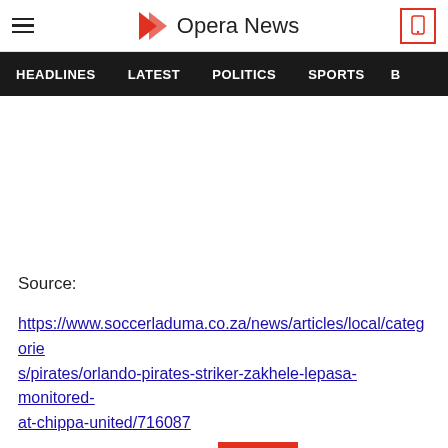Opera News
HEADLINES   LATEST   POLITICS   SPORTS   B
Source:
https://www.soccerladuma.co.za/news/articles/local/categories/pirates/orlando-pirates-striker-zakhele-lepasa-monitored-at-chippa-united/716087